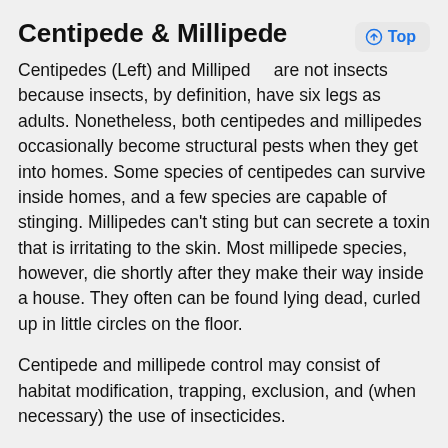Centipede & Millipede
Centipedes (Left) and Millipedes are not insects because insects, by definition, have six legs as adults. Nonetheless, both centipedes and millipedes occasionally become structural pests when they get into homes. Some species of centipedes can survive inside homes, and a few species are capable of stinging. Millipedes can't sting but can secrete a toxin that is irritating to the skin. Most millipede species, however, die shortly after they make their way inside a house. They often can be found lying dead, curled up in little circles on the floor.
Centipede and millipede control may consist of habitat modification, trapping, exclusion, and (when necessary) the use of insecticides.